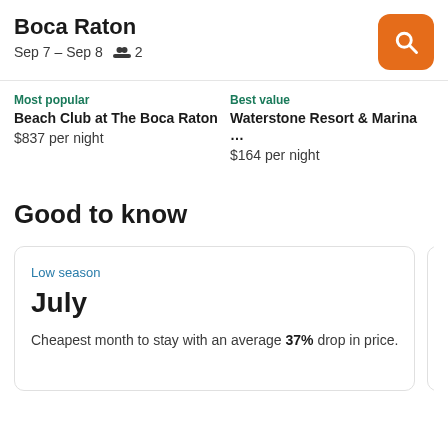Boca Raton
Sep 7 – Sep 8   2
Most popular
Beach Club at The Boca Raton
$837 per night
Best value
Waterstone Resort & Marina ...
$164 per night
Good to know
Low season
July
Cheapest month to stay with an average 37% drop in price.
High s
June
Most e
3,151%